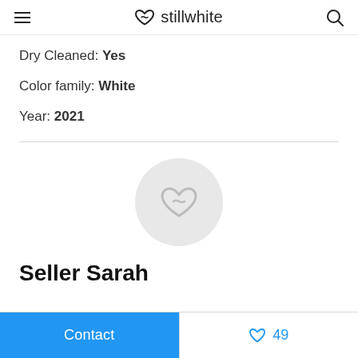stillwhite
Dry Cleaned: Yes
Color family: White
Year: 2021
[Figure (logo): Stillwhite logo placeholder avatar circle with infinity-heart icon in light gray]
Seller Sarah
Contact   ♡ 49